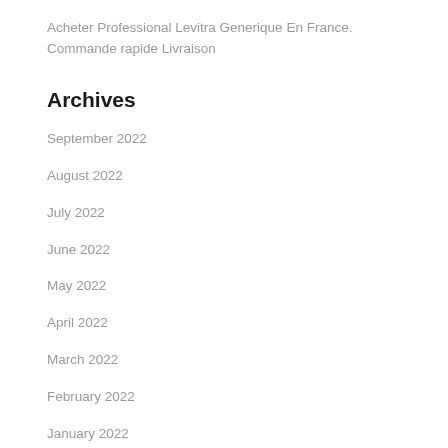Acheter Professional Levitra Generique En France. Commande rapide Livraison
Archives
September 2022
August 2022
July 2022
June 2022
May 2022
April 2022
March 2022
February 2022
January 2022
December 2021
November 2021